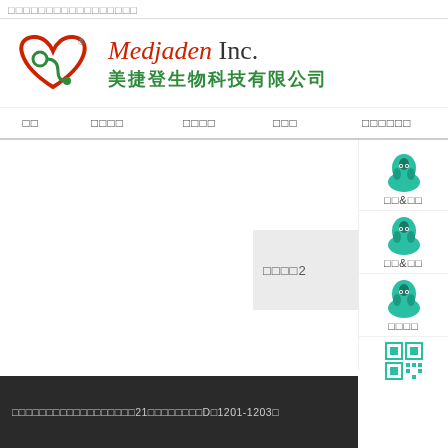□□□□□□□□□□□□□□□□□
[Figure (logo): Medjaden Inc. logo with heart and stethoscope symbol]
Medjaden Inc. 美捷登生物科技有限公司
□□  □□□□  □□□□  □□□  □□□□□□
□□&□□
□□□□2
□□&□□
□□□□
[Figure (other): QR code]
□□□□□□□□□□□□□□□□□□21□□□□□□□□D□1201-1203□